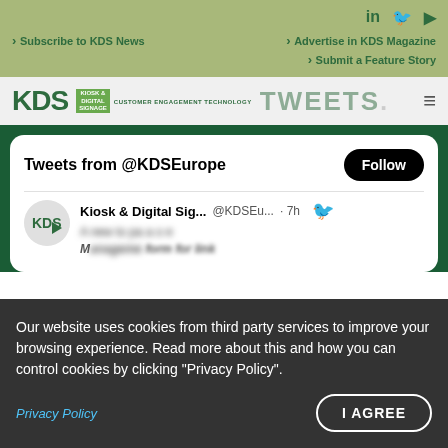Social icons: LinkedIn, Twitter, YouTube
Subscribe to KDS News
Advertise in KDS Magazine
Submit a Feature Story
TWEETS
Tweets from @KDSEurope
Kiosk & Digital Sig... @KDSEu... · 7h
Our website uses cookies from third party services to improve your browsing experience. Read more about this and how you can control cookies by clicking "Privacy Policy".
Privacy Policy
I AGREE